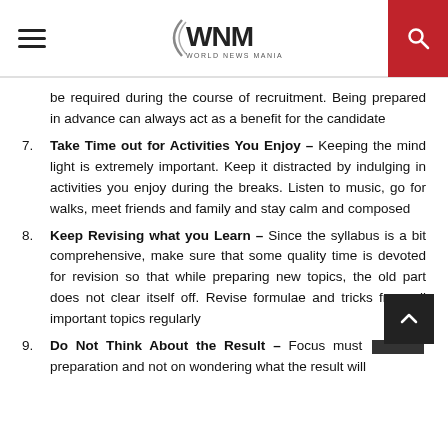World News Mania – WNM
be required during the course of recruitment. Being prepared in advance can always act as a benefit for the candidate
7. Take Time out for Activities You Enjoy – Keeping the mind light is extremely important. Keep it distracted by indulging in activities you enjoy during the breaks. Listen to music, go for walks, meet friends and family and stay calm and composed
8. Keep Revising what you Learn – Since the syllabus is a bit comprehensive, make sure that some quality time is devoted for revision so that while preparing new topics, the old part does not clear itself off. Revise formulae and tricks from all important topics regularly
9. Do Not Think About the Result – Focus must be on preparation and not on wondering what the result will